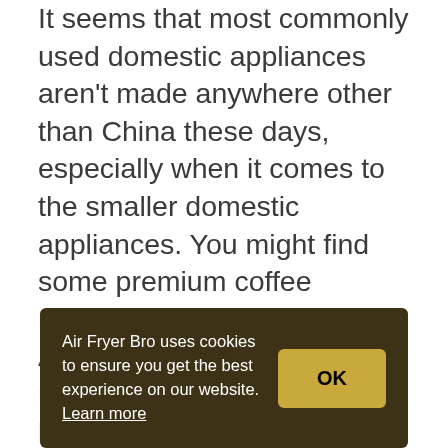It seems that most commonly used domestic appliances aren't made anywhere other than China these days, especially when it comes to the smaller domestic appliances. You might find some premium coffee makers and the like made in America, but air fryers are not really in the same league. No one is buying a premium air fryer anytime soon, so I don't see much hope for the American made air fryer. This is just making an air fryer in China is a lot
Air Fryer Bro uses cookies to ensure you get the best experience on our website. Learn more